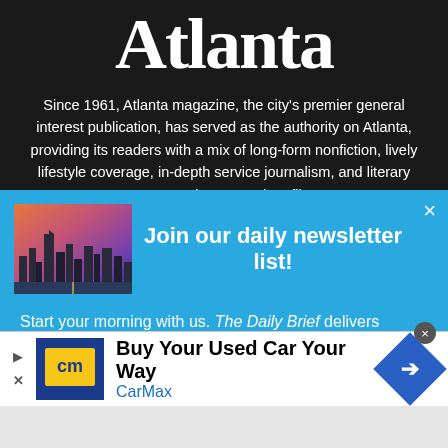Atlanta
Since 1961, Atlanta magazine, the city’s premier general interest publication, has served as the authority on Atlanta, providing its readers with a mix of long-form nonfiction, lively lifestyle coverage, in-depth service journalism, and literary essays, columns, and profiles.
[Figure (screenshot): Newsletter signup popup with blue background, showing Atlanta skyline photo and headline 'Join our daily newsletter list!']
Start your morning with us. The Daily Brief delivers
[Figure (infographic): CarMax advertisement banner: 'Buy Your Used Car Your Way' with CarMax logo and navigation arrow icon]